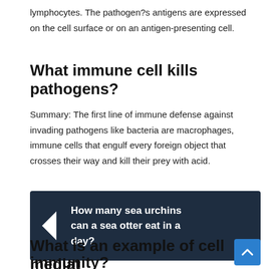lymphocytes. The pathogen?s antigens are expressed on the cell surface or on an antigen-presenting cell.
What immune cell kills pathogens?
Summary: The first line of immune defense against invading pathogens like bacteria are macrophages, immune cells that engulf every foreign object that crosses their way and kill their prey with acid.
[Figure (infographic): Dark navy blue navigation box with a left-pointing arrow icon on the left and bold white text reading 'How many sea urchins can a sea otter eat in a day?']
What is an example of cell mediated immunity?